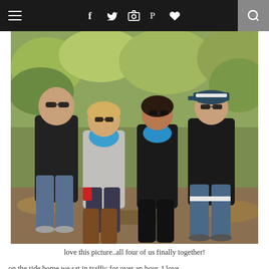≡  f  Twitter  Instagram  Pinterest  Heart  Search
[Figure (photo): Four people standing together outdoors in autumn, two men on the outside and two women in the middle, both women wearing blue scarves and sunglasses. Trees with fall foliage in the background.]
love this picture..all four of us finally together!
on the ride home we sat in traffic for over an hour..I love Charlotte but I definitely don't love the traffic here..